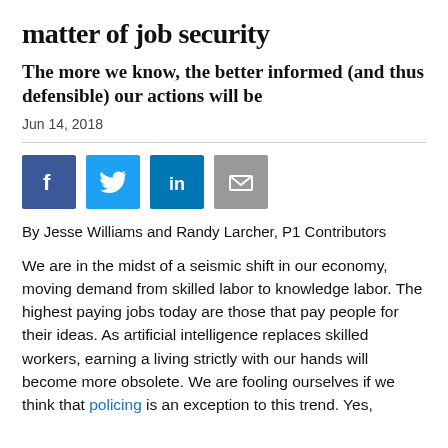matter of job security
The more we know, the better informed (and thus defensible) our actions will be
Jun 14, 2018
[Figure (infographic): Social sharing icons: Facebook (blue), Twitter (light blue), LinkedIn (blue), Email (gray)]
By Jesse Williams and Randy Larcher, P1 Contributors
We are in the midst of a seismic shift in our economy, moving demand from skilled labor to knowledge labor. The highest paying jobs today are those that pay people for their ideas. As artificial intelligence replaces skilled workers, earning a living strictly with our hands will become more obsolete. We are fooling ourselves if we think that policing is an exception to this trend. Yes,